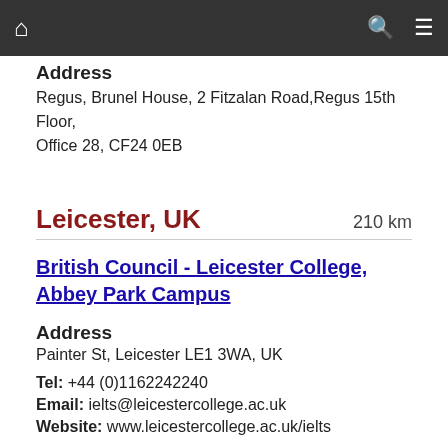Navigation bar with home, search, and menu icons
Address
Regus, Brunel House, 2 Fitzalan Road,Regus 15th Floor, Office 28, CF24 0EB
Leicester, UK  210 km
British Council - Leicester College, Abbey Park Campus
Address
Painter St, Leicester LE1 3WA, UK
Tel: +44 (0)1162242240
Email: ielts@leicestercollege.ac.uk
Website: www.leicestercollege.ac.uk/ielts